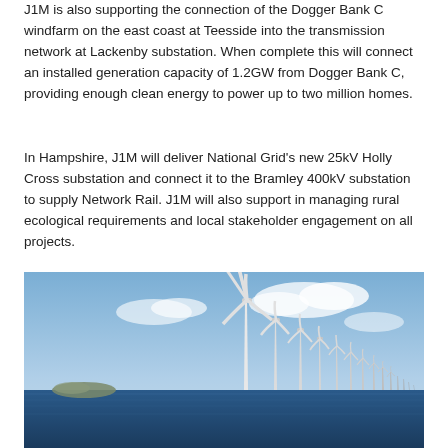J1M is also supporting the connection of the Dogger Bank C windfarm on the east coast at Teesside into the transmission network at Lackenby substation. When complete this will connect an installed generation capacity of 1.2GW from Dogger Bank C, providing enough clean energy to power up to two million homes.
In Hampshire, J1M will deliver National Grid's new 25kV Holly Cross substation and connect it to the Bramley 400kV substation to supply Network Rail. J1M will also support in managing rural ecological requirements and local stakeholder engagement on all projects.
[Figure (photo): Offshore wind farm with a row of large white wind turbines extending into the distance over dark blue sea, under a partly cloudy blue sky. The nearest turbine is prominently large. A small landmass is visible on the left horizon.]